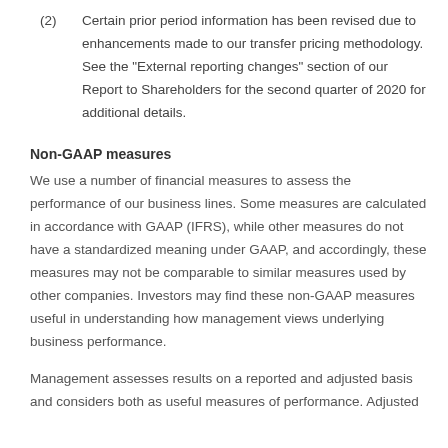(2) Certain prior period information has been revised due to enhancements made to our transfer pricing methodology. See the "External reporting changes" section of our Report to Shareholders for the second quarter of 2020 for additional details.
Non-GAAP measures
We use a number of financial measures to assess the performance of our business lines. Some measures are calculated in accordance with GAAP (IFRS), while other measures do not have a standardized meaning under GAAP, and accordingly, these measures may not be comparable to similar measures used by other companies. Investors may find these non-GAAP measures useful in understanding how management views underlying business performance.
Management assesses results on a reported and adjusted basis and considers both as useful measures of performance. Adjusted